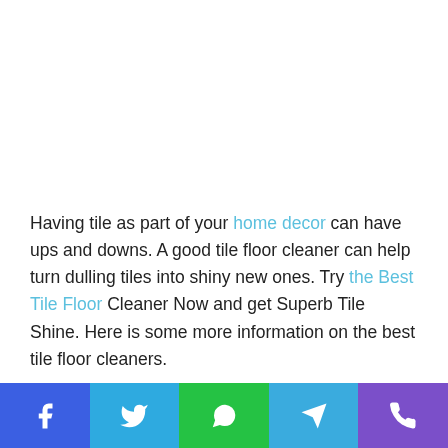Having tile as part of your home decor can have ups and downs. A good tile floor cleaner can help turn dulling tiles into shiny new ones. Try the Best Tile Floor Cleaner Now and get Superb Tile Shine. Here is some more information on the best tile floor cleaners.
[Figure (other): Partial rectangular outline of a box/button near the bottom of the content area]
Social sharing bar with Facebook, Twitter, WhatsApp, Telegram, Phone icons